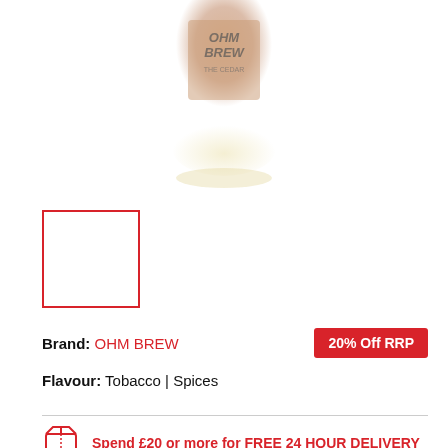[Figure (photo): Product bottle photo of Ohm Brew e-liquid, brown/amber colored bottle with logo text visible, shown from above on white background]
[Figure (photo): Small red-bordered thumbnail/variant selector box, empty white interior]
Brand: OHM BREW   20% Off RRP
Flavour: Tobacco | Spices
Spend £20 or more for FREE 24 HOUR DELIVERY